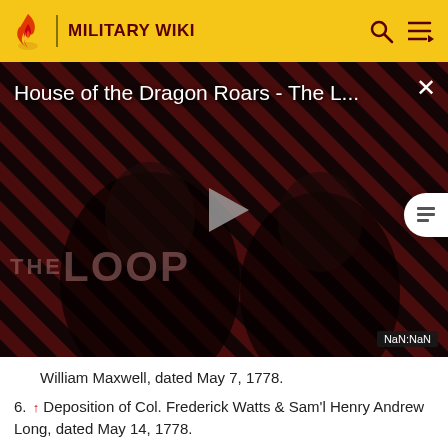MILITARY WIKI
[Figure (screenshot): Video thumbnail for 'House of the Dragon Roars - The L...' with diagonal red/black stripes background, play button in center, 'THE LOOP' text overlay, and NaN:NaN time badge]
William Maxwell, dated May 7, 1778.
6. ↑ Deposition of Col. Frederick Watts & Sam'l Henry Andrew Long, dated May 14, 1778.
7. ↑ Brigadier General John Lacey, Jr., to General Armstrong, dated May 11, 1778.